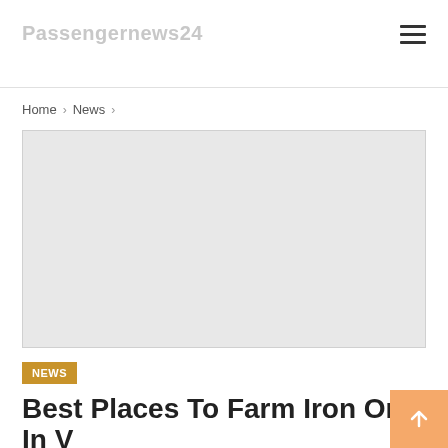Passengernews24
Home > News >
[Figure (photo): Featured article image placeholder — light grey rectangle]
NEWS
Best Places To Farm Iron Ore In V